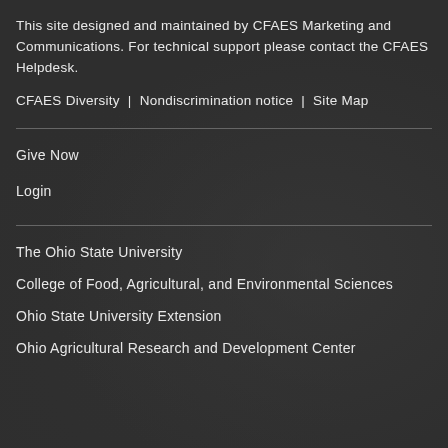This site designed and maintained by CFAES Marketing and Communications. For technical support please contact the CFAES Helpdesk.
CFAES Diversity  |  Nondiscrimination notice  |  Site Map
Give Now
Login
The Ohio State University
College of Food, Agricultural, and Environmental Sciences
Ohio State University Extension
Ohio Agricultural Research and Development Center